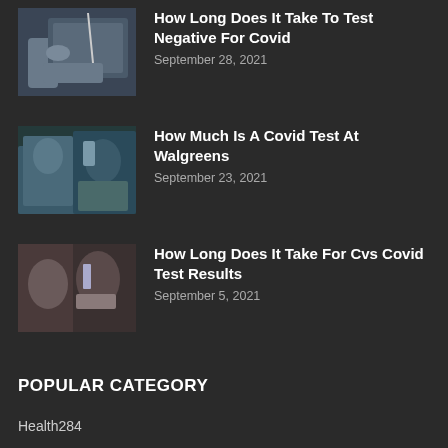[Figure (photo): Close-up of hands holding a Covid test swab]
How Long Does It Take To Test Negative For Covid
September 28, 2021
[Figure (photo): Healthcare workers in blue PPE conducting a drive-through Covid test]
How Much Is A Covid Test At Walgreens
September 23, 2021
[Figure (photo): Healthcare worker in white PPE administering a nasal swab Covid test to a woman]
How Long Does It Take For Cvs Covid Test Results
September 5, 2021
POPULAR CATEGORY
Health284
Impact278
Prevention266
Remedy264